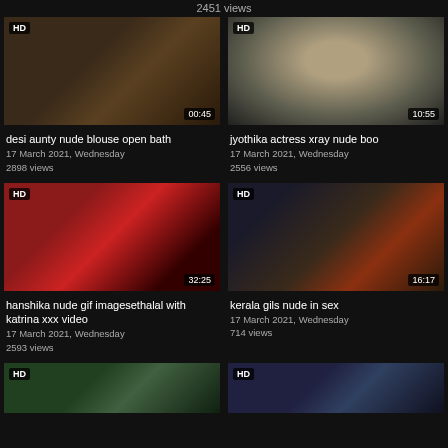2451 views
[Figure (screenshot): Video thumbnail showing a door, HD badge, duration 00:45]
desi aunty nude blouse open bath
17 March 2021, Wednesday
2898 views
[Figure (screenshot): Video thumbnail showing a person, HD badge, duration 10:55]
jyothika actress xray nude boo
17 March 2021, Wednesday
2556 views
[Figure (screenshot): Video thumbnail showing couple on red couch, HD badge, duration 32:25]
hanshika nude gif imagesethalal with katrina xxx video
17 March 2021, Wednesday
2593 views
[Figure (screenshot): Video thumbnail showing people with tattoos, HD badge, duration 16:17]
kerala gils nude in sex
17 March 2021, Wednesday
714 views
[Figure (screenshot): Bottom left partial video thumbnail, HD badge]
[Figure (screenshot): Bottom right partial video thumbnail, HD badge]